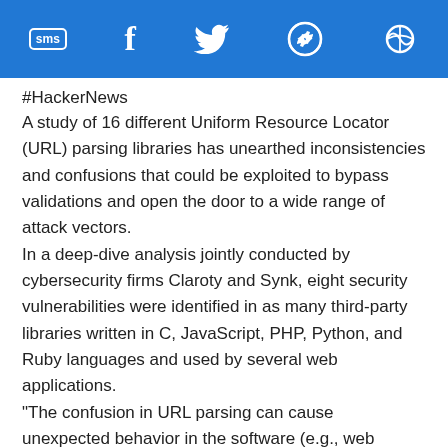SMS | f | Twitter | WhatsApp | Share
#HackerNews
A study of 16 different Uniform Resource Locator (URL) parsing libraries has unearthed inconsistencies and confusions that could be exploited to bypass validations and open the door to a wide range of attack vectors.
In a deep-dive analysis jointly conducted by cybersecurity firms Claroty and Synk, eight security vulnerabilities were identified in as many third-party libraries written in C, JavaScript, PHP, Python, and Ruby languages and used by several web applications.
"The confusion in URL parsing can cause unexpected behavior in the software (e.g., web application), and could be exploited by threat actors to cause denial-of-service conditions, information leaks, or possibly conduct remote code execution attacks," the researchers said in a report shared with The